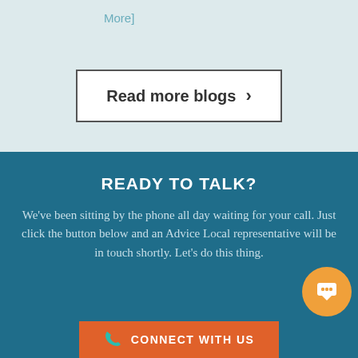More]
Read more blogs ›
READY TO TALK?
We've been sitting by the phone all day waiting for your call. Just click the button below and an Advice Local representative will be in touch shortly. Let's do this thing.
CONNECT WITH US